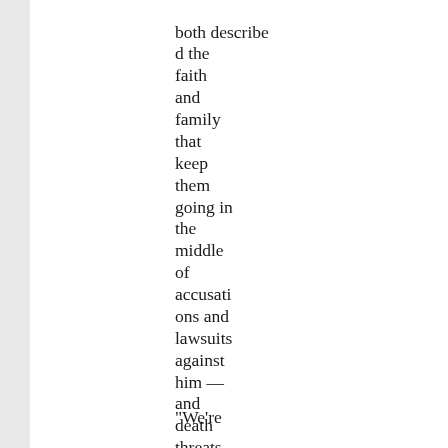both described the faith and family that keep them going in the middle of accusations and lawsuits against him — and death threats against them both.
"We're